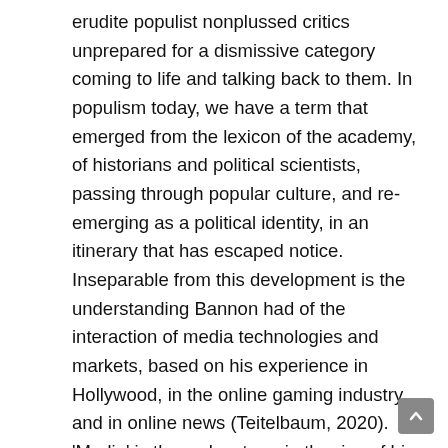erudite populist nonplussed critics unprepared for a dismissive category coming to life and talking back to them. In populism today, we have a term that emerged from the lexicon of the academy, of historians and political scientists, passing through popular culture, and re-emerging as a political identity, in an itinerary that has escaped notice. Inseparable from this development is the understanding Bannon had of the interaction of media technologies and markets, based on his experience in Hollywood, in the online gaming industry and in online news (Teitelbaum, 2020). ‘Media’ is thus a key term in the rise of his own brand of populism.
In Marxist scholarship, the relationship between